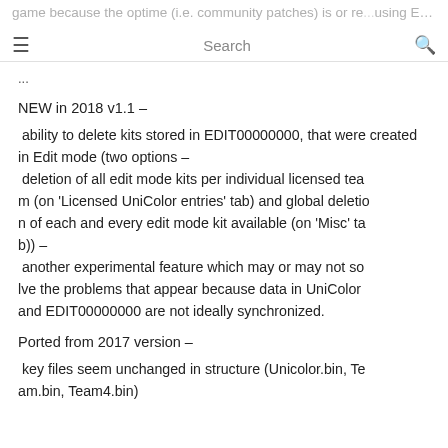game because the optime (i.e. community patches) is or re... using EDIT00000000 files with different kit distributio... ...
...
NEW in 2018 v1.1 –
ability to delete kits stored in EDIT00000000, that were created in Edit mode (two options –
 deletion of all edit mode kits per individual licensed team (on 'Licensed UniColor entries' tab) and global deletion of each and every edit mode kit available (on 'Misc' tab)) –
 another experimental feature which may or may not solve the problems that appear because data in UniColor and EDIT00000000 are not ideally synchronized.
Ported from 2017 version –
key files seem unchanged in structure (Unicolor.bin, Team.bin, Team4.bin)